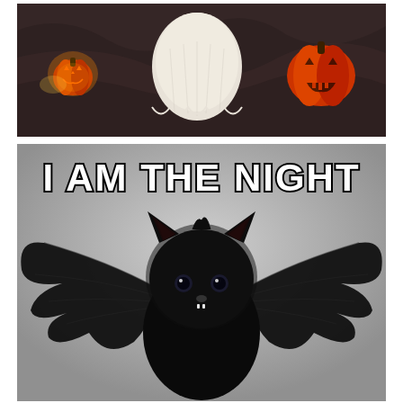[Figure (photo): Photo of a dark brown/grey bedding with two orange jack-o-lantern pumpkin decorations on the left and right, and a white knitted pillow or cushion in the center shaped like a ghost, creating a Halloween scene on a bed.]
[Figure (photo): Internet meme photo of a small black kitten wearing bat wings costume against a light grey background. Bold white text with black outline at the top reads 'I AM THE NIGHT'. The kitten faces the camera with its bat wings spread wide, looking intense and dramatic.]